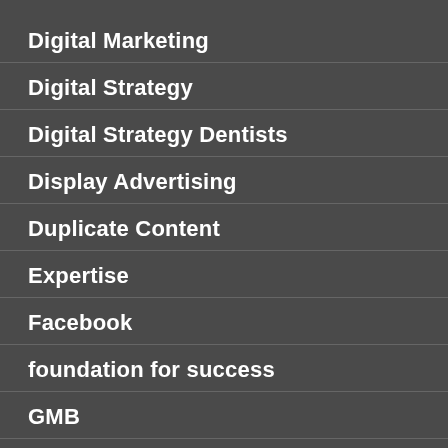Digital Marketing
Digital Strategy
Digital Strategy Dentists
Display Advertising
Duplicate Content
Expertise
Facebook
foundation for success
GMB